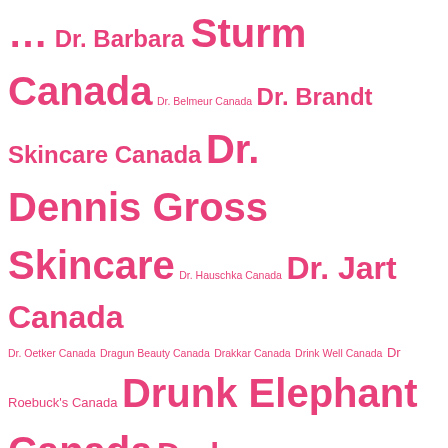Tag cloud listing beauty and retail brands available in Canada, ranging from Dr. Barbara Sturm Canada to Farm Canada, displayed in varying font sizes indicating popularity or frequency.